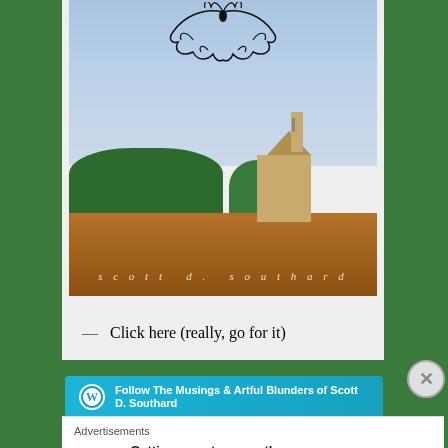[Figure (photo): Book cover for Scott D. Southard showing a church building amid red-dirt field under cloudy sky, with ornamental flourish at top and author name 'scott d. southard' in spaced italic lettering at bottom]
— Click here (really, go for it)
[Figure (other): Cyan/teal WordPress follow button bar reading: Follow The Musings & Artful Blunders of Scott D. Southard, with WordPress logo icon on left]
Advertisements
[Figure (logo): P2 logo: black rectangle with white grid icon and P2 text]
Getting your team on the same page is easy. And free.